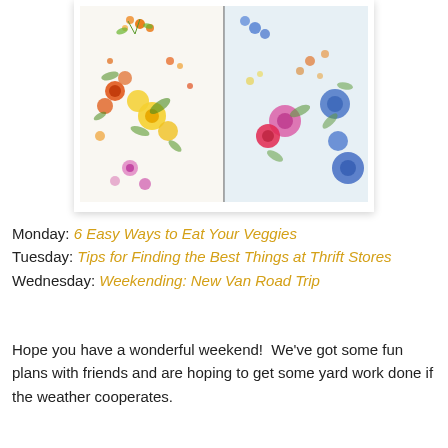[Figure (photo): Two open books or notebooks with colorful floral fabric/paper patterns — left side with small orange, yellow, and green flowers; right side with larger pink, blue, and red flowers on a lighter background.]
Monday: 6 Easy Ways to Eat Your Veggies
Tuesday: Tips for Finding the Best Things at Thrift Stores
Wednesday: Weekending: New Van Road Trip
Hope you have a wonderful weekend!  We've got some fun plans with friends and are hoping to get some yard work done if the weather cooperates.